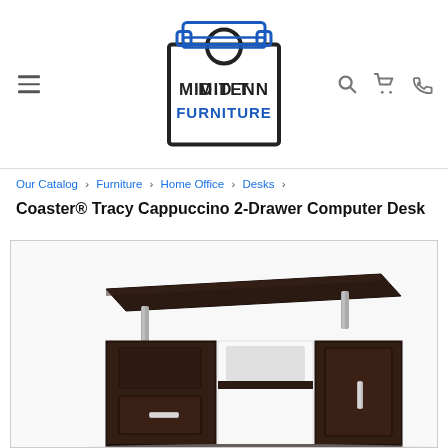[Figure (logo): Mid Tenn Furniture logo — sofa icon inside a square tag shape, with text MID TENN FURNITURE]
Our Catalog › Furniture › Home Office › Desks ›
Coaster® Tracy Cappuccino 2-Drawer Computer Desk
[Figure (photo): Dark cappuccino finish computer desk with 2 drawers, open shelf, keyboard tray, and chrome hardware against white background]